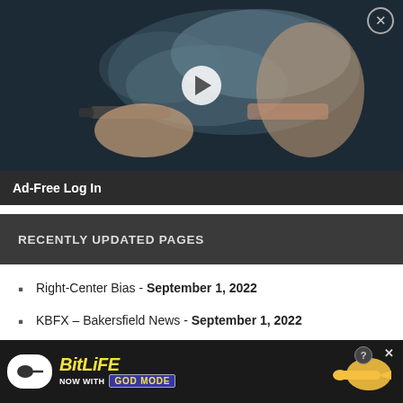[Figure (screenshot): Video thumbnail showing a man vaping/using an e-cigarette with smoke clouds, with a play button overlay. Dark background. Close (X) button in top-right corner.]
Ad-Free Log In
RECENTLY UPDATED PAGES
Right-Center Bias - September 1, 2022
KBFX – Bakersfield News - September 1, 2022
Apost.com - September 1, 2022
[Figure (screenshot): BitLife advertisement banner at the bottom. Yellow 'BitLife' text on dark background with 'NOW WITH GOD MODE' text and a pointing hand/finger graphic.]